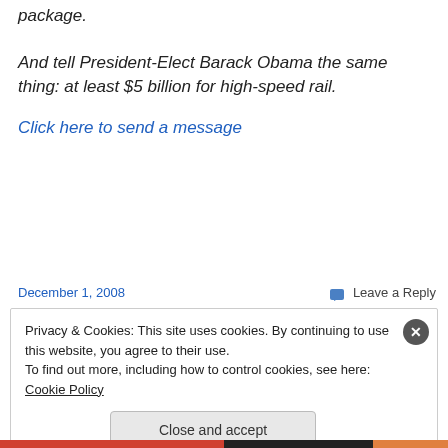package.
And tell President-Elect Barack Obama the same thing: at least $5 billion for high-speed rail.
Click here to send a message
December 1, 2008
Leave a Reply
Privacy & Cookies: This site uses cookies. By continuing to use this website, you agree to their use.
To find out more, including how to control cookies, see here: Cookie Policy
Close and accept